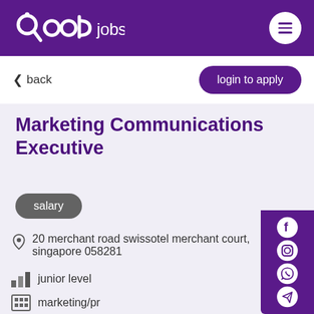qood jobs
< back
login to apply
Marketing Communications Executive
salary
20 merchant road swissotel merchant court, singapore 058281
junior level
marketing/pr
permanent or full time